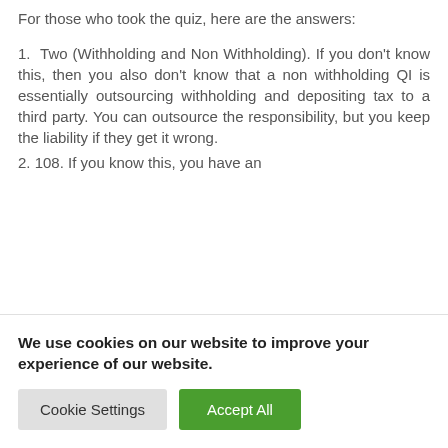For those who took the quiz, here are the answers:
1.  Two (Withholding and Non Withholding). If you don’t know this, then you also don’t know that a non withholding QI is essentially outsourcing withholding and depositing tax to a third party. You can outsource the responsibility, but you keep the liability if they get it wrong.
2.  108. If you know this, you have an
We use cookies on our website to improve your experience of our website.
Cookie Settings  Accept All